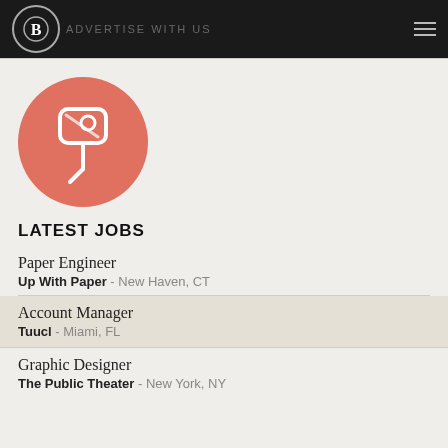ADVERTISE WITH US
[Figure (illustration): Orange/salmon circle with white pushpin icon]
LATEST JOBS
Paper Engineer — Up With Paper - New Haven, CT
Account Manager — Tuucl - Miami, FL
Graphic Designer — The Public Theater - New York, NY